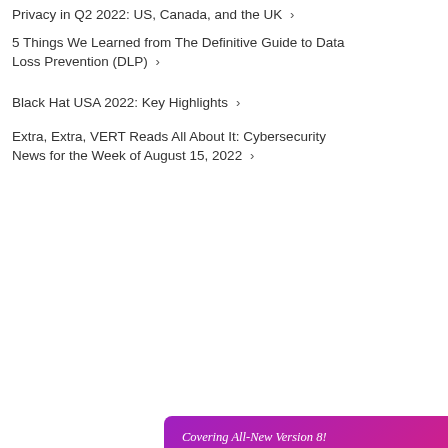Privacy in Q2 2022: US, Canada, and the UK ›
5 Things We Learned from The Definitive Guide to Data Loss Prevention (DLP) ›
Black Hat USA 2022: Key Highlights ›
Extra, Extra, VERT Reads All About It: Cybersecurity News for the Week of August 15, 2022 ›
[Figure (illustration): Advertisement banner for 'The Executive's Guide to the CIS Controls' with purple-to-pink gradient background. Text reads: 'Covering All-New Version 8! THE EXECUTIVE'S GUIDE TO THE CIS CONTROLS. Key Takeaways & Action Opportunities'. Shows a tablet device with the guide cover. Orange 'Download Now' button at bottom.]